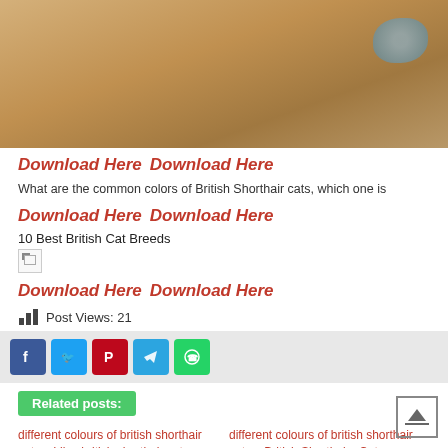MENU
[Figure (photo): Top portion of a cat photo showing wooden floor and partial view of a cat, cropped at top of page]
Download Here  Download Here
What are the common colors of British Shorthair cats, which one is
Download Here  Download Here
10 Best British Cat Breeds
[Figure (illustration): Broken image placeholder icon]
Download Here  Download Here
Post Views: 21
[Figure (infographic): Social share buttons: Facebook, Twitter, Pinterest, Telegram, WhatsApp]
Related posts:
different colours of british shorthair cats – Lilac british shorthair cat Images, Stock
different colours of british shorthair cats – British Shorthairs Cats